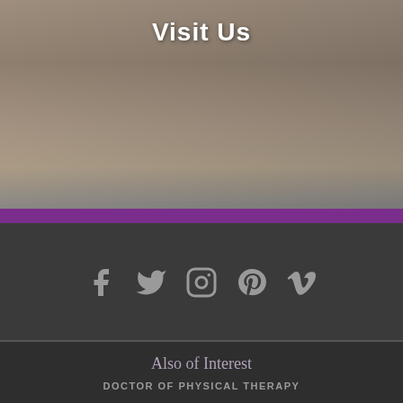[Figure (photo): Photo of building entrance with stairs, railings, and bicycles parked outside. Overlaid with white text 'Visit Us'. Purple bar at bottom of image.]
Visit Us
[Figure (infographic): Social media icons row: Facebook, Twitter, Instagram, Pinterest, Vimeo - gray colored on dark background]
Also of Interest
DOCTOR OF PHYSICAL THERAPY